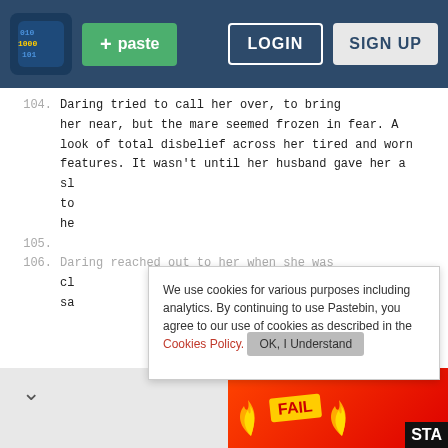[Figure (screenshot): Pastebin website screenshot with navigation bar showing logo, paste button, login and sign up buttons]
104.    Daring tried to call her over, to bring her near, but the mare seemed frozen in fear. A look of total disbelief across her tired and worn features. It wasn't until her husband gave her a sl to he
105.
106.    Daring reached out to her when she was cl sa
We use cookies for various purposes including analytics. By continuing to use Pastebin, you agree to our use of cookies as described in the Cookies Policy. OK, I Understand
Not a member of Pastebin yet? Sign Up, it unlocks many cool features!